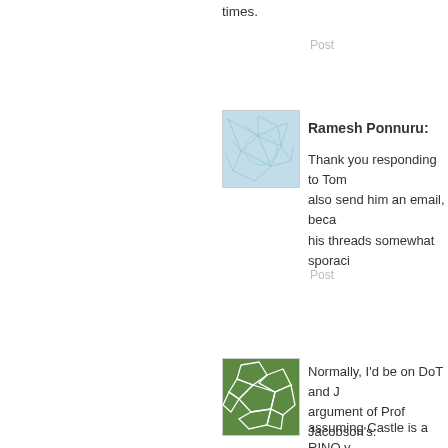times.
Post
[Figure (illustration): Blue neural network pattern avatar image]
Ramesh Ponnuru:
Thank you responding to Tom also send him an email, because his threads somewhat sporadic
Post
[Figure (illustration): Green geometric pattern avatar image with cell-like shapes]
Normally, I'd be on DoT and argument of Prof Jacobson's:
assuming Castle is a RINO y general election, what to do?
I say, vote for the candidate y where they may. That is so no
The argument is that a Castle Republican control of the Sen happens. So what? So long a much more likely scenario).